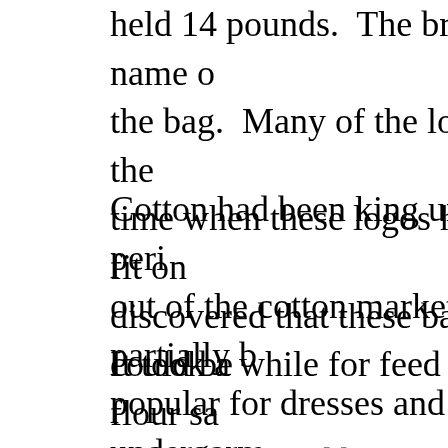held 14 pounds. The brand name the bag. Many of the logos on the time when these logos had to fit on discovered that these bags could be
Cotton had been king until the peri out of the cotton market partially b popular for dresses and undergarm even more companies began using
It took a while for feed and flour sa these sacks had become with wom for promoting the use of feed sacks then, around 1925, colorful prints f